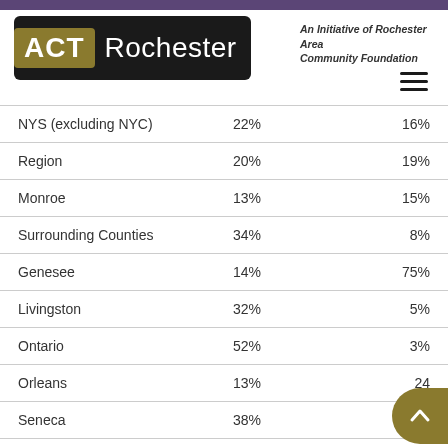ACT Rochester — An Initiative of Rochester Area Community Foundation
|  |  |  |
| --- | --- | --- |
| NYS (excluding NYC) | 22% | 16% |
| Region | 20% | 19% |
| Monroe | 13% | 15% |
| Surrounding Counties | 34% | 8% |
| Genesee | 14% | 75% |
| Livingston | 32% | 5% |
| Ontario | 52% | 3% |
| Orleans | 13% | 24% |
| Seneca | 38% | 13% |